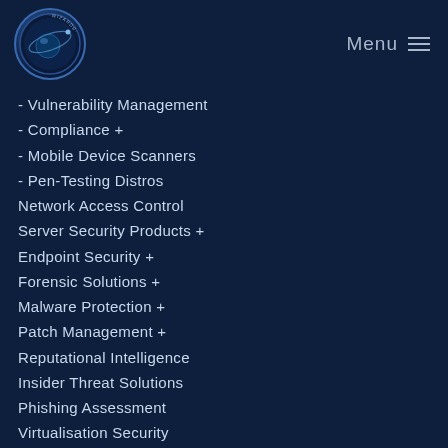[Figure (logo): Security Wizards circular logo with blue planet/satellite graphic and text around the border]
Menu ≡
- Vulnerability Management
- Compliance +
- Mobile Device Scanners
- Pen-Testing Distros
Network Access Control
Server Security Products +
Endpoint Security +
Forensic Solutions +
Malware Protection +
Patch Management +
Reputational Intelligence
Insider Threat Solutions
Phishing Assessment
Virtualisation Security
SIEM